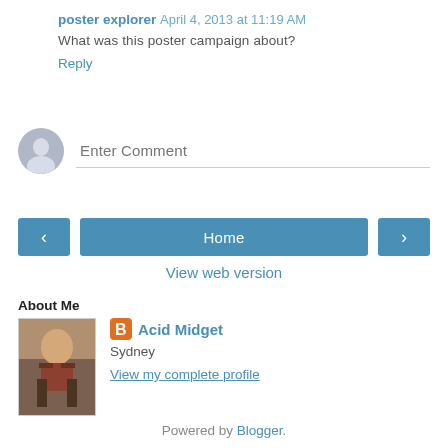poster explorer  April 4, 2013 at 11:19 AM
What was this poster campaign about?
Reply
[Figure (other): Anonymous user avatar placeholder (grey silhouette circle) and Enter Comment input field]
Home (navigation buttons with left arrow, Home, right arrow)
View web version
About Me
[Figure (photo): Profile photo of a child standing outdoors]
Acid Midget
Sydney
View my complete profile
Powered by Blogger.